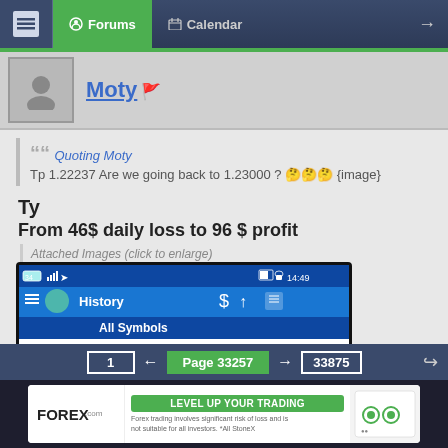Forums | Calendar
Moty 🚩
Quoting Moty
Tp 1.22237 Are we going back to 1.23000 ? 🤔🤔🤔 {image}
Ty
From 46$ daily loss to 96 $ profit
Attached Images (click to enlarge)
[Figure (screenshot): Mobile trading app screenshot showing History panel. Profit: 96.19, Balance: 96.19. GBPUSD, buy 0.15, 2022.06.23 11:46, 1.22037 → 1.22237, 30.00. Time shown: 14:49.]
1 ← Page 33257 → 33875